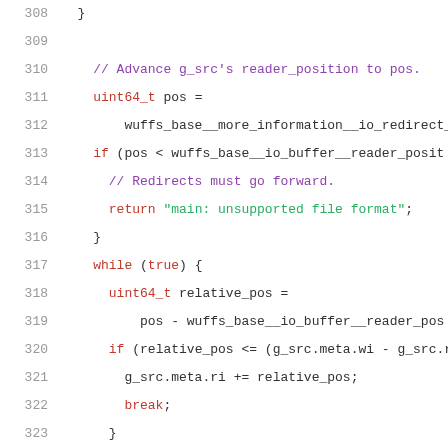308     }
309
310         // Advance g_src's reader_position to pos.
311         uint64_t pos =
312             wuffs_base__more_information__io_redirect_
313         if (pos < wuffs_base__io_buffer__reader_posit
314           // Redirects must go forward.
315           return "main: unsupported file format";
316         }
317         while (true) {
318           uint64_t relative_pos =
319               pos - wuffs_base__io_buffer__reader_pos
320           if (relative_pos <= (g_src.meta.wi - g_src.r
321             g_src.meta.ri += relative_pos;
322             break;
323           }
324           g_src.meta.ri = g_src.meta.wi;
325           TRY(read_more_src());
326         }
327         return NULL;
328     }
329